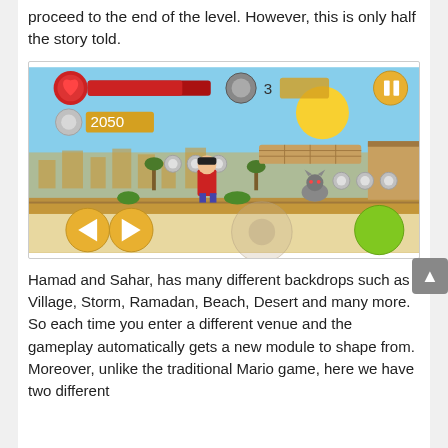proceed to the end of the level. However, this is only half the story told.
[Figure (screenshot): Screenshot of a mobile side-scrolling platformer game (Hamad and Sahar) showing a desert level with a character, enemy, coins, health bar, coin counter showing 2050, life counter showing 3, and on-screen controls.]
Hamad and Sahar, has many different backdrops such as Village, Storm, Ramadan, Beach, Desert and many more. So each time you enter a different venue and the gameplay automatically gets a new module to shape from. Moreover, unlike the traditional Mario game, here we have two different